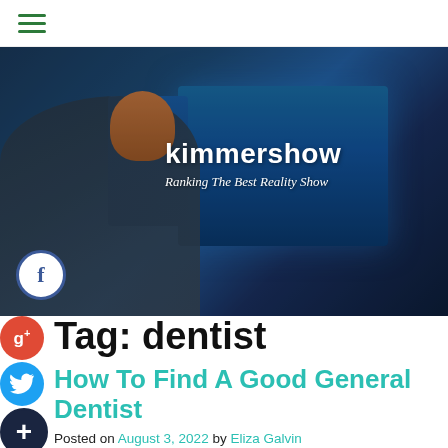[Figure (screenshot): Website header with hamburger menu icon (three horizontal green lines)]
[Figure (photo): Hero banner image showing a person with headphones and beard working at a computer with multiple monitors displaying video editing software. Overlaid with 'kimmershow' brand name and 'Ranking The Best Reality Show' tagline. Facebook share button visible at bottom left.]
[Figure (logo): Google Plus circular red button with g+ icon]
[Figure (logo): Twitter circular blue button with bird icon]
[Figure (logo): Dark circular button with plus icon]
Tag: dentist
How To Find A Good General Dentist
Posted on August 3, 2022 by Eliza Galvin